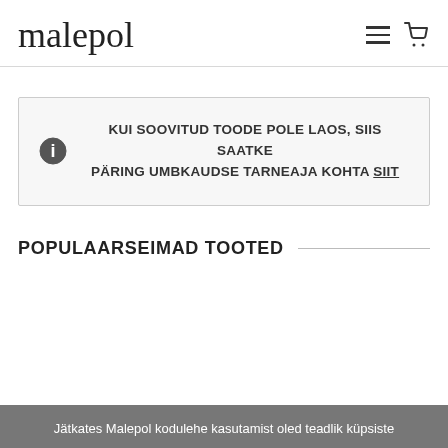malepol
KUI SOOVITUD TOODE POLE LAOS, SIIS SAATKE PÄRING UMBKAUDSE TARNEAJA KOHTA SIIT
POPULAARSEIMAD TOOTED
Jätkates Malepol kodulehe kasutamist oled teadlik küpsiste